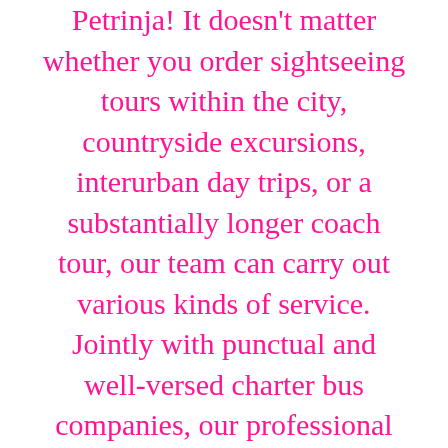Petrinja! It doesn't matter whether you order sightseeing tours within the city, countryside excursions, interurban day trips, or a substantially longer coach tour, our team can carry out various kinds of service. Jointly with punctual and well-versed charter bus companies, our professional bus rental experts can elaborate a wonderfully instant offer for all of the subsequent services. No matter if you order customized rides or a considerably longer coach journey, we